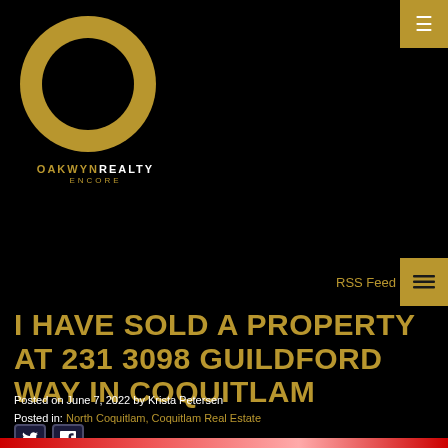[Figure (logo): Oakwyn Realty Encore logo: gold ring/circle with black center, brand name OAKWYN REALTY ENCORE below]
RSS Feed
I HAVE SOLD A PROPERTY AT 231 3098 GUILDFORD WAY IN COQUITLAM
Posted on June 7, 2022 by Krista Petersen
Posted in: North Coquitlam, Coquitlam Real Estate
[Figure (illustration): Twitter and Facebook social share icons]